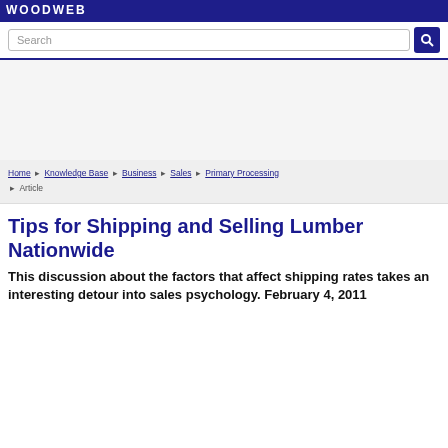WOODWEB
Search
Home › Knowledge Base › Business › Sales › Primary Processing › Article
Tips for Shipping and Selling Lumber Nationwide
This discussion about the factors that affect shipping rates takes an interesting detour into sales psychology. February 4, 2011